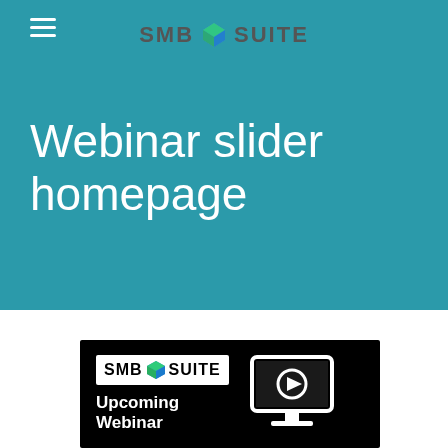[Figure (screenshot): SMB Suite website header with teal background, hamburger menu icon on the left, and SMB Suite logo centered at top]
Webinar slider homepage
[Figure (screenshot): SMB Suite webinar promotional card with black background showing the SMB Suite logo, 'Upcoming Webinar' text, and a monitor icon with a play button]